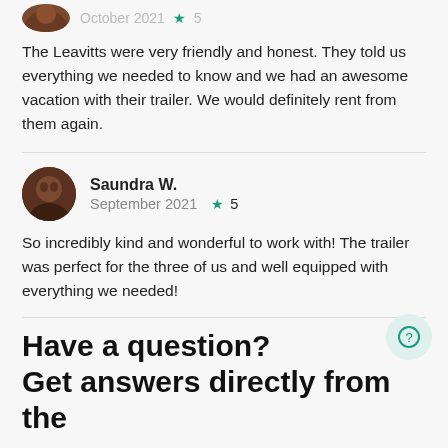The Leavitts were very friendly and honest. They told us everything we needed to know and we had an awesome vacation with their trailer. We would definitely rent from them again.
Saundra W.
September 2021 ★5
So incredibly kind and wonderful to work with! The trailer was perfect for the three of us and well equipped with everything we needed!
Have a question?
Get answers directly from the